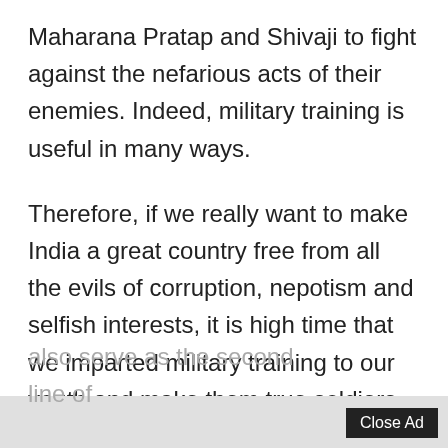Maharana Pratap and Shivaji to fight against the nefarious acts of their enemies. Indeed, military training is useful in many ways.
Therefore, if we really want to make India a great country free from all the evils of corruption, nepotism and selfish interests, it is high time that we imparted military training to our youth and make them true soldiers and saviours of the motherland. This would also serve as the second line of